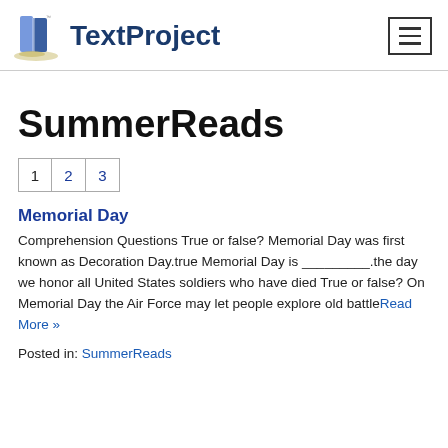TextProject
SummerReads
1 2 3
Memorial Day
Comprehension Questions True or false? Memorial Day was first known as Decoration Day.true Memorial Day is _________.the day we honor all United States soldiers who have died True or false? On Memorial Day the Air Force may let people explore old battleRead More »
Posted in: SummerReads